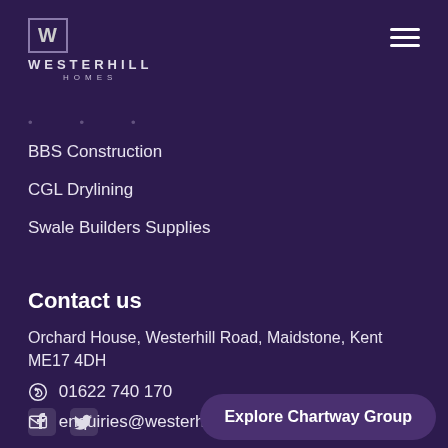[Figure (logo): Westerhill Homes logo with W in a square box above the text WESTERHILL HOMES]
[Figure (other): Hamburger/menu icon with three horizontal white lines]
BBS Construction
CGL Drylining
Swale Builders Supplies
Contact us
Orchard House, Westerhill Road, Maidstone, Kent ME17 4DH
01622 740 170
enquiries@westerhillhomes.co.uk
Explore Chartway Group